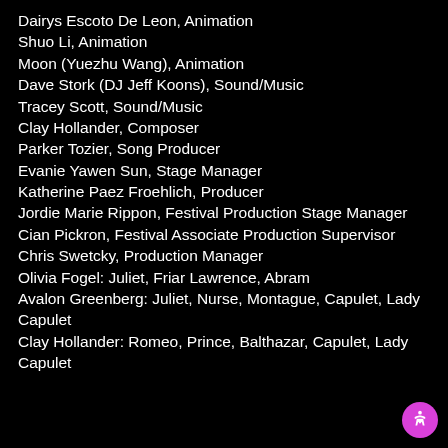Dairys Escoto De Leon, Animation
Shuo Li, Animation
Moon (Yuezhu Wang), Animation
Dave Stork (DJ Jeff Koons), Sound/Music
Tracey Scott, Sound/Music
Clay Hollander, Composer
Parker Tozier, Song Producer
Evanie Yawen Sun, Stage Manager
Katherine Paez Froehlich, Producer
Jordie Marie Rippon, Festival Production Stage Manager
Cian Pickron, Festival Associate Production Supervisor
Chris Swetcky, Production Manager
Olivia Fogel: Juliet, Friar Lawrence, Abram
Avalon Greenberg: Juliet, Nurse, Montague, Capulet, Lady Capulet
Clay Hollander: Romeo, Prince, Balthazar, Capulet, Lady Capulet